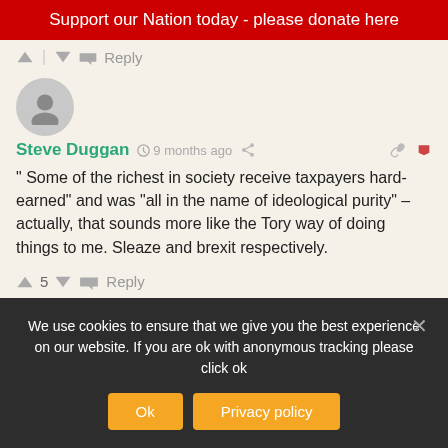Support our Nation today - please donate here
^ | v  Reply
Steve Duggan  9 months ago
" Some of the richest in society receive taxpayers hard-earned" and was “all in the name of ideological purity” – actually, that sounds more like the Tory way of doing things to me. Sleaze and brexit respectively.
^ 5 v  Reply
We use cookies to ensure that we give you the best experience on our website. If you are ok with anonymous tracking please click ok
Ok   Privacy policy